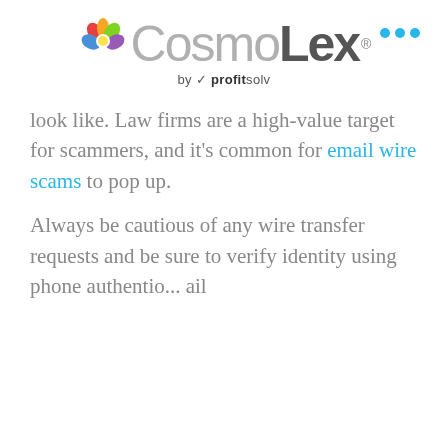[Figure (logo): CosmoLex logo by profitsolv with colorful flower icon and three blue dots]
look like. Law firms are a high-value target for scammers, and it's common for email wire scams to pop up.
Always be cautious of any wire transfer requests and be sure to verify identity using phone authentication...
[Figure (screenshot): Chat widget overlay showing avatars with online badge and message: Thank you for visiting CosmoLex. How can I help you today?]
Remote Work
Being able to work remotely has a ton of benefits... satisfied clients who know you're working on their